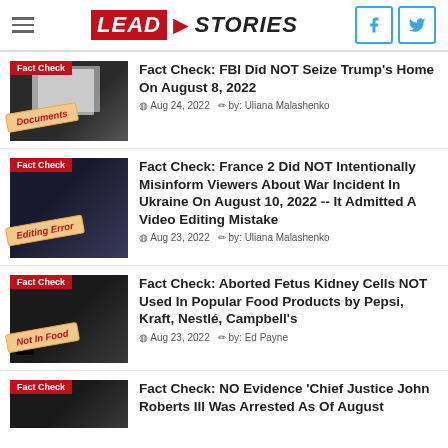Lead Stories
[Figure (screenshot): Article thumbnail with 'Documents' stamp overlay]
Fact Check: FBI Did NOT Seize Trump's Home On August 8, 2022
Aug 24, 2022  by: Uliana Malashenko
[Figure (screenshot): Article thumbnail with 'Editing Error' stamp overlay]
Fact Check: France 2 Did NOT Intentionally Misinform Viewers About War Incident In Ukraine On August 10, 2022 -- It Admitted A Video Editing Mistake
Aug 23, 2022  by: Uliana Malashenko
[Figure (screenshot): Article thumbnail with 'Not In Food' stamp overlay]
Fact Check: Aborted Fetus Kidney Cells NOT Used In Popular Food Products by Pepsi, Kraft, Nestlé, Campbell's
Aug 23, 2022  by: Ed Payne
[Figure (screenshot): Article thumbnail - partially visible]
Fact Check: NO Evidence 'Chief Justice John Roberts III Was Arrested As Of August